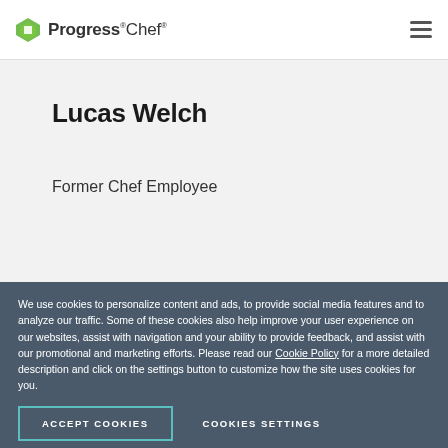Progress Chef
Lucas Welch
Former Chef Employee
[Figure (infographic): Chef Conf banner: September 12-13, 2022. The DevOps Conference You Don't Want to Miss! Register Now button.]
We use cookies to personalize content and ads, to provide social media features and to analyze our traffic. Some of these cookies also help improve your user experience on our websites, assist with navigation and your ability to provide feedback, and assist with our promotional and marketing efforts. Please read our Cookie Policy for a more detailed description and click on the settings button to customize how the site uses cookies for you.
ACCEPT COOKIES   COOKIES SETTINGS